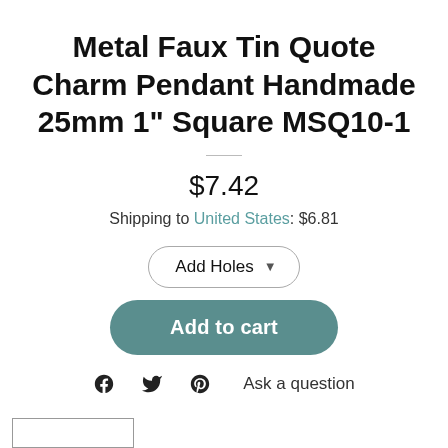Metal Faux Tin Quote Charm Pendant Handmade 25mm 1" Square MSQ10-1
$7.42
Shipping to United States: $6.81
Add Holes
Add to cart
Ask a question